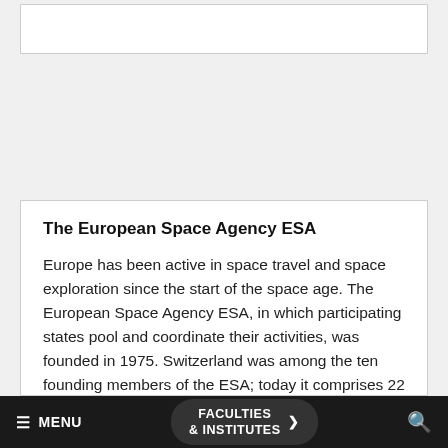The European Space Agency ESA
Europe has been active in space travel and space exploration since the start of the space age. The European Space Agency ESA, in which participating states pool and coordinate their activities, was founded in 1975. Switzerland was among the ten founding members of the ESA; today it comprises 22 member states. Bernese researchers were appointed to ESA’s advisory commissions very early on thanks to their proven expertise. Therefore, they also have an influence on which space projects and missions are chosen from the
MENU  FACULTIES & INSTITUTES  ›